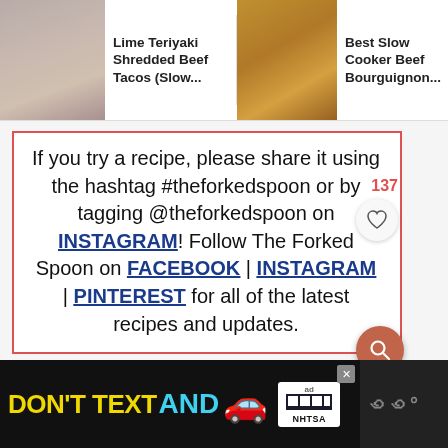[Figure (screenshot): Top navigation strip showing three food recipe thumbnails with labels: 'Lime Teriyaki Shredded Beef Tacos (Slow...', 'Best Slow Cooker Beef Bourguignon...', and a partial 'Jambalaya Recipe' with search icon]
If you try a recipe, please share it using the hashtag #theforkedspoon or by tagging @theforkedspoon on INSTAGRAM! Follow The Forked Spoon on FACEBOOK | INSTAGRAM | PINTEREST for all of the latest recipes and updates.
[Figure (screenshot): Bottom advertisement banner: DON'T TEXT AND [car emoji] with ad badge and NHTSA logo, and close button. Partial text visible on right side.]